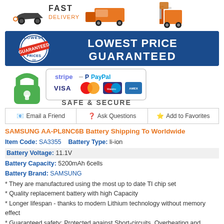[Figure (illustration): Fast Delivery banner with orange delivery van and forklift icons]
[Figure (illustration): Lowest Price Guaranteed banner with blue background and badge logo]
[Figure (illustration): Safe & Secure section with green padlock and payment icons: Stripe, PayPal, VISA, MasterCard, Maestro, American Express]
| Email a Friend | Ask Questions | Add to Favorites |
SAMSUNG AA-PL8NC6B Battery Shipping To Worldwide
Item Code: SA3355   Battery Type: li-ion
Battery Voltage: 11.1V
Battery Capacity: 5200mAh 6cells
Battery Brand: SAMSUNG
* They are manufactured using the most up to date TI chip set
* Quality replacement battery with high Capacity
* Longer lifespan - thanks to modern Lithium technology without memory effect
* Guaranteed safety: Protected against Short-circuits, Overheating and Overvoltage
* Each cell is separately tested in order to ensure professional standards are